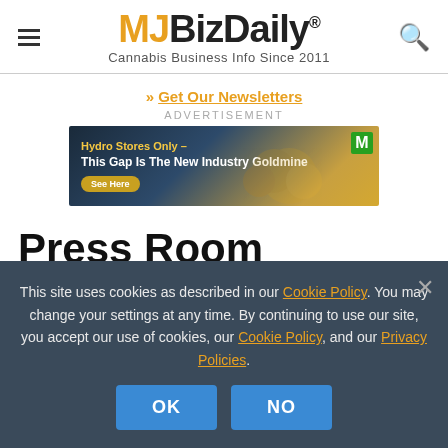MJBizDaily® — Cannabis Business Info Since 2011
» Get Our Newsletters
ADVERTISEMENT
[Figure (photo): Advertisement banner: Hydro Stores Only – This Gap Is The New Industry Goldmine. See Here button visible. Gold coins imagery on dark background with M badge.]
Press Room
This site uses cookies as described in our Cookie Policy. You may change your settings at any time. By continuing to use our site, you accept our use of cookies, our Cookie Policy, and our Privacy Policies.